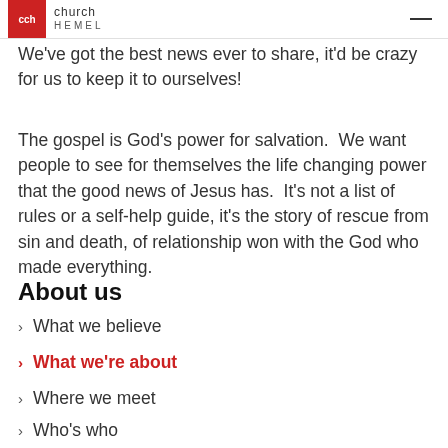CCH Church Hemel
We've got the best news ever to share, it'd be crazy for us to keep it to ourselves!
The gospel is God's power for salvation.  We want people to see for themselves the life changing power that the good news of Jesus has.  It's not a list of rules or a self-help guide, it's the story of rescue from sin and death, of relationship won with the God who made everything.
About us
What we believe
What we're about
Where we meet
Who's who
Affiliati…